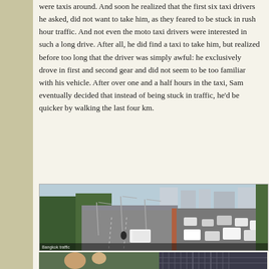were taxis around. And soon he realized that the first six taxi drivers he asked, did not want to take him, as they feared to be stuck in rush hour traffic. And not even the moto taxi drivers were interested in such a long drive. After all, he did find a taxi to take him, but realized before too long that the driver was simply awful: he exclusively drove in first and second gear and did not seem to be too familiar with his vehicle. After over one and a half hours in the taxi, Sam eventually decided that instead of being stuck in traffic, he'd be quicker by walking the last four km.
[Figure (photo): Aerial view of a busy Bangkok road with heavy traffic, an elevated highway/overpass on the left, cars and vehicles on the right side street, city buildings in the background, trees on both sides.]
[Figure (photo): Partial view of another photo at the bottom of the page, showing people and possibly a market or street scene.]